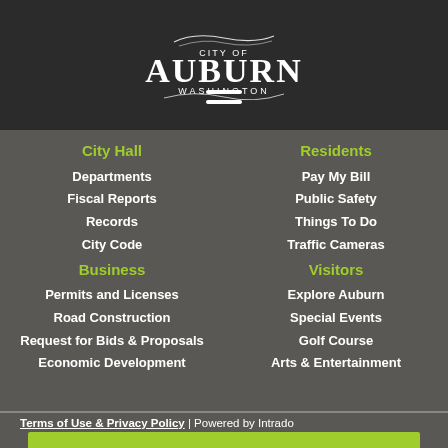[Figure (logo): City of Auburn Washington logo in white on dark background]
[Figure (other): Hamburger menu icon (three horizontal white lines)]
City Hall
Departments
Fiscal Reports
Records
City Code
Business
Permits and Licenses
Road Construction
Request for Bids & Proposals
Economic Development
Residents
Pay My Bill
Public Safety
Things To Do
Traffic Cameras
Visitors
Explore Auburn
Special Events
Golf Course
Arts & Entertainment
Terms of Use & Privacy Policy | Powered by Intrado